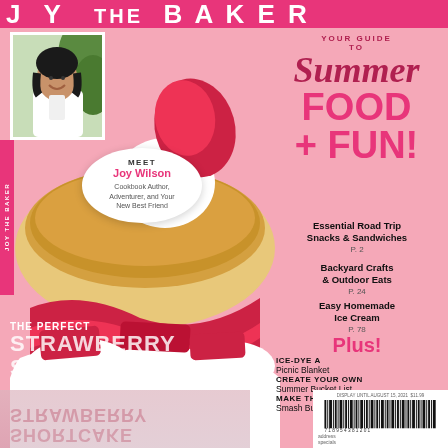JOY THE BAKER
[Figure (photo): Magazine cover of Joy the Baker showing a strawberry shortcake close-up with whipped cream and fresh strawberries on a biscuit, on a pink background]
[Figure (photo): Small portrait photo of Joy Wilson smiling, wearing a white blouse]
MEET Joy Wilson Cookbook Author, Adventurer, and Your New Best Friend
YOUR GUIDE TO Summer FOOD + FUN!
Essential Road Trip Snacks & Sandwiches P. 2
Backyard Crafts & Outdoor Eats P. 24
Easy Homemade Ice Cream P. 78
Plus!
ICE-DYE A Picnic Blanket
CREATE YOUR OWN Summer Bucket List
MAKE THE BEST Smash Burgers
THE PERFECT STRAWBERRY SHORTCAKE